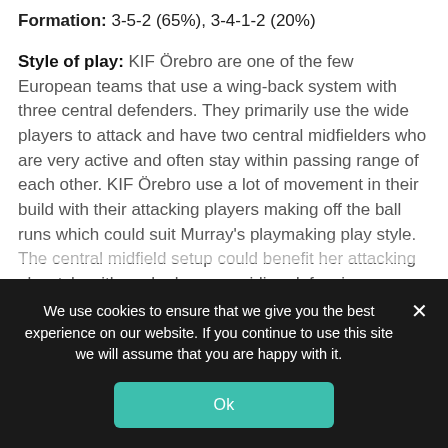Formation: 3-5-2 (65%), 3-4-1-2 (20%)
Style of play: KIF Örebro are one of the few European teams that use a wing-back system with three central defenders. They primarily use the wide players to attack and have two central midfielders who are very active and often stay within passing range of each other. KIF Örebro use a lot of movement in their build with their attacking players making off the ball runs which could suit Murray's playmaking play style. The central midfield setup could benefit her attacking playstyle with each player providing defensive cover and providing a short, simple
We use cookies to ensure that we give you the best experience on our website. If you continue to use this site we will assume that you are happy with it.
Ok